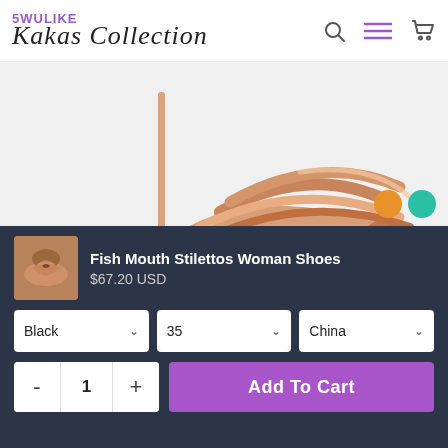5WULIKE Kakas Collection
[Figure (photo): Close-up product photo of rose gold metallic strappy stiletto heels on white background]
Fish Mouth Stilettos Woman Shoes
$67.20 USD
Black
35
China
- 1 +
Add To Cart